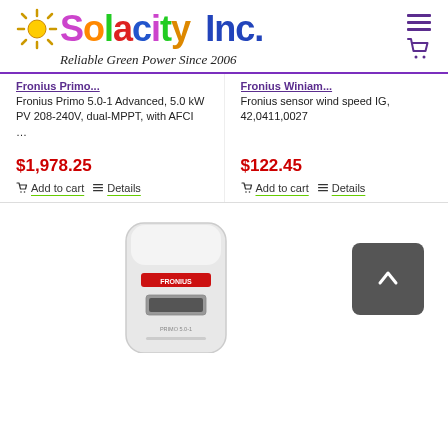[Figure (logo): Solacity Inc. logo with colorful text and sun graphic, tagline: Reliable Green Power Since 2006]
Fronius Primo 5.0-1 Advanced, 5.0 kW PV 208-240V, dual-MPPT, with AFCI …
Fronius sensor wind speed IG, 42,0411,0027
$1,978.25
$122.45
Add to cart
Details
Add to cart
Details
[Figure (photo): Fronius inverter unit product photo, white device with red Fronius logo]